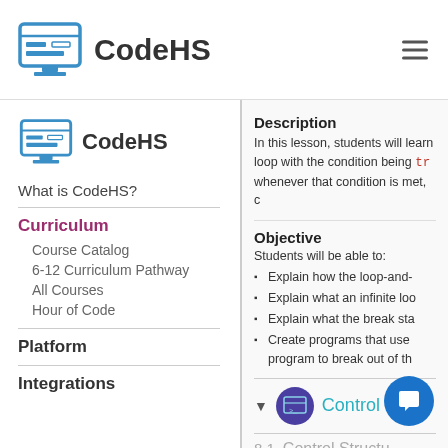CodeHS
[Figure (logo): CodeHS logo - computer monitor icon in blue]
[Figure (logo): CodeHS sidebar logo - computer monitor icon in blue, smaller]
What is CodeHS?
Curriculum
Course Catalog
6-12 Curriculum Pathway
All Courses
Hour of Code
Platform
Integrations
Description
In this lesson, students will learn loop with the condition being tr whenever that condition is met, c
Objective
Students will be able to:
Explain how the loop-and-...
Explain what an infinite loo...
Explain what the break sta...
Create programs that use program to break out of th...
Control Stru...
8.1   Control Structu...